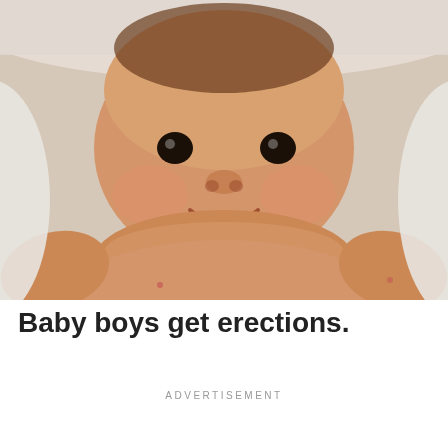[Figure (photo): Close-up photo of a chubby smiling baby lying on white bedding, viewed from above, skin tones warm beige/peach, white background visible at edges.]
8/10
Baby boys get erections.
ADVERTISEMENT